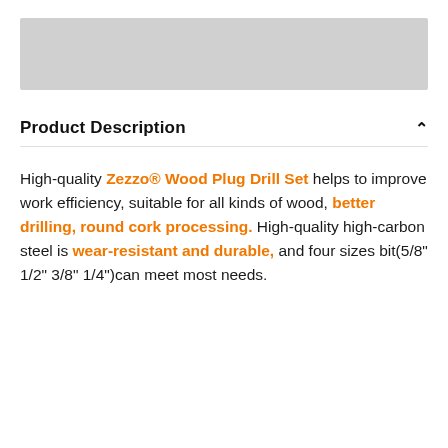[Figure (photo): Product image placeholder (gray rectangle)]
Product Description
High-quality Zezzo® Wood Plug Drill Set helps to improve work efficiency, suitable for all kinds of wood, better drilling, round cork processing. High-quality high-carbon steel is wear-resistant and durable, and four sizes bit(5/8" 1/2" 3/8" 1/4")can meet most needs.